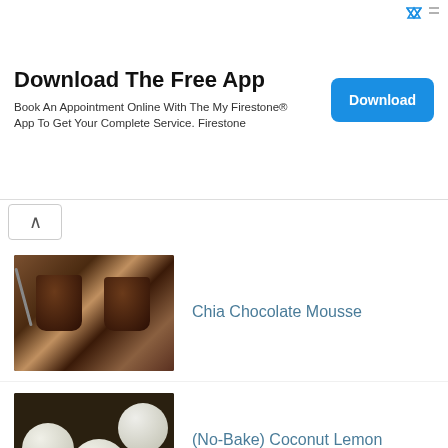[Figure (screenshot): Advertisement banner: Download The Free App - Book An Appointment Online With The My Firestone® App To Get Your Complete Service. Firestone. Blue Download button on right.]
Chia Chocolate Mousse
(No-Bake) Coconut Lemon Meltaway Balls
(Vegan) Easy Chickpea Tikka Masala